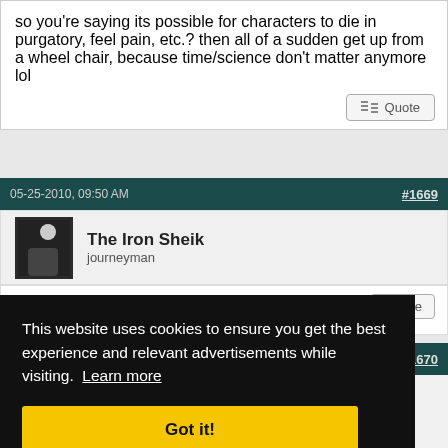so you're saying its possible for characters to die in purgatory, feel pain, etc.? then all of a sudden get up from a wheel chair, because time/science don't matter anymore lol
Quote
05-25-2010, 09:50 AM  #1669
The Iron Sheik
journeyman
Quote
#1670
Carpal Tunnel
This website uses cookies to ensure you get the best experience and relevant advertisements while visiting. Learn more
Got it!